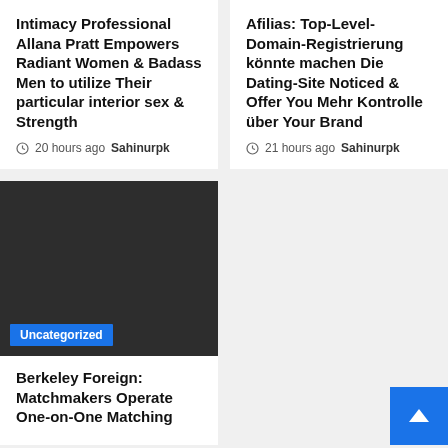Intimacy Professional Allana Pratt Empowers Radiant Women & Badass Men to utilize Their particular interior sex & Strength
20 hours ago  Sahinurpk
Afilias: Top-Level-Domain-Registrierung könnte machen Die Dating-Site Noticed & Offer You Mehr Kontrolle über Your Brand
21 hours ago  Sahinurpk
[Figure (photo): Dark/black image block with a blue 'Uncategorized' badge label in the lower left]
Berkeley Foreign: Matchmakers Operate One-on-One Matching